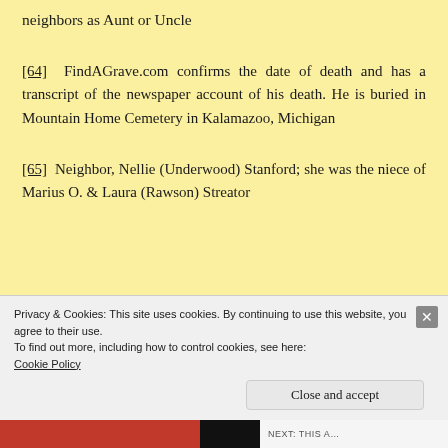neighbors as Aunt or Uncle
[64] FindAGrave.com confirms the date of death and has a transcript of the newspaper account of his death. He is buried in Mountain Home Cemetery in Kalamazoo, Michigan
[65] Neighbor, Nellie (Underwood) Stanford; she was the niece of Marius O. & Laura (Rawson) Streator
Privacy & Cookies: This site uses cookies. By continuing to use this website, you agree to their use.
To find out more, including how to control cookies, see here:
Cookie Policy
Close and accept